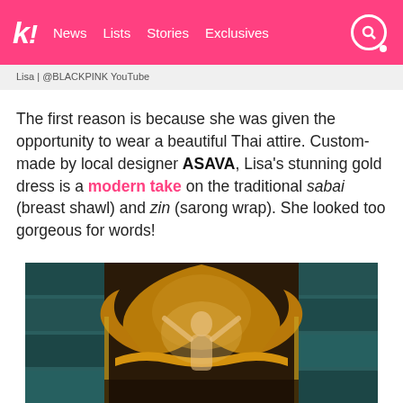k! News Lists Stories Exclusives
Lisa | @BLACKPINK YouTube
The first reason is because she was given the opportunity to wear a beautiful Thai attire. Custom-made by local designer ASAVA, Lisa's stunning gold dress is a modern take on the traditional sabai (breast shawl) and zin (sarong wrap). She looked too gorgeous for words!
[Figure (photo): Lisa in a gold Thai traditional dress in front of an ornate gold decorative backdrop with teal stone tile walls on either side]